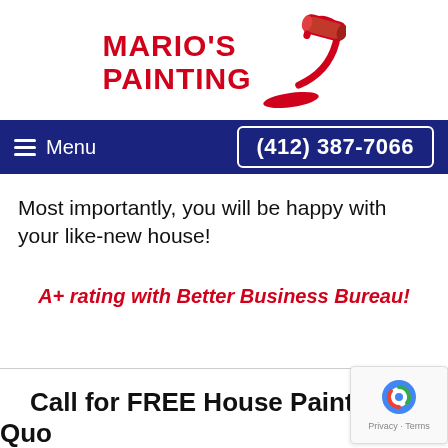[Figure (logo): Mario's Painting logo with red text and paint roller illustration]
Menu | (412) 387-7066
Most importantly, you will be happy with your like-new house!
A+ rating with Better Business Bureau!
Call for FREE House Painting Quo...